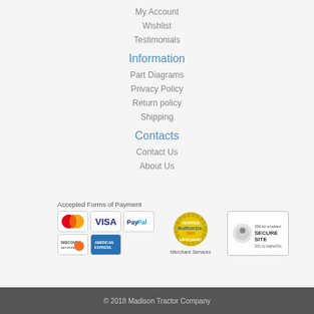My Account
Wishlist
Testimonials
Information
Part Diagrams
Privacy Policy
Return policy
Shipping
Contacts
Contact Us
About Us
[Figure (infographic): Accepted Forms of Payment section showing Mastercard, Visa, PayPal, Discover, American Express card icons, Authorize.Net Verified Merchant seal, and 256-bit enabled Secure Site SSL by AlphaSSL badge]
© 2018 Madison Tractor Company